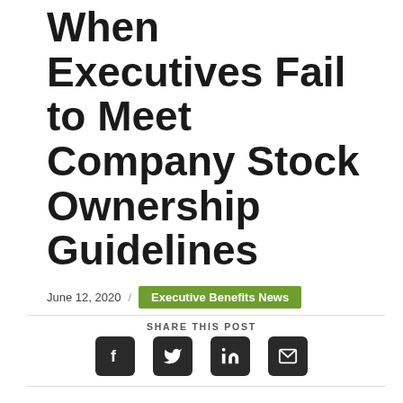When Executives Fail to Meet Company Stock Ownership Guidelines
June 12, 2020 / Executive Benefits News
SHARE THIS POST
[Figure (other): Social share icons: Facebook, Twitter, LinkedIn, Email]
Print This Page
Although the economy has shown positive signs, (such as the May jobs report) indicating recovery is underway, no one is exhaling yet